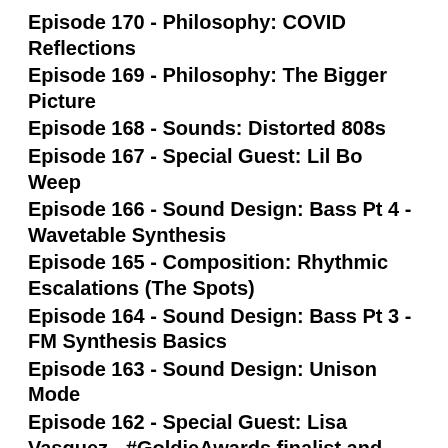Episode 170 - Philosophy: COVID Reflections
Episode 169 - Philosophy: The Bigger Picture
Episode 168 - Sounds: Distorted 808s
Episode 167 - Special Guest: Lil Bo Weep
Episode 166 - Sound Design: Bass Pt 4 - Wavetable Synthesis
Episode 165 - Composition: Rhythmic Escalations (The Spots)
Episode 164 - Sound Design: Bass Pt 3 - FM Synthesis Basics
Episode 163 - Sound Design: Unison Mode
Episode 162 - Special Guest: Lisa Vasquez - #GoldieAwards finalist and MPC battle boss
Episode 161 - Sound Design: Bass Pt 2 - Classic Subtractive Patches
Episode 160 - Sound Design: Bass Pt 1 - Subtractive Synthesis Basics
Episode 159 - Philosophy: #RemixYourLife